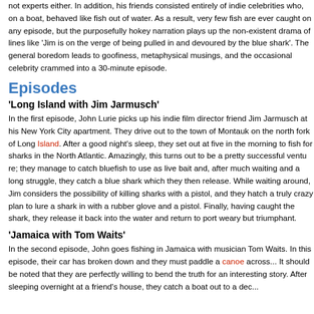not experts either. In addition, his friends consisted entirely of indie celebrities who, on a boat, behaved like fish out of water. As a result, very few fish are ever caught on any episode, but the purposefully hokey narration plays up the non-existent drama of lines like 'Jim is on the verge of being pulled in and devoured by the blue shark'. The general boredom leads to goofiness, metaphysical musings, and the occasional celebrity crammed into a 30-minute episode.
Episodes
'Long Island with Jim Jarmusch'
In the first episode, John Lurie picks up his indie film director friend Jim Jarmusch at his New York City apartment. They drive out to the town of Montauk on the north fork of Long Island. After a good night's sleep, they set out at five in the morning to fish for sharks in the North Atlantic. Amazingly, this turns out to be a pretty successful venture; they manage to catch bluefish to use as live bait and, after much waiting and a long struggle, they catch a blue shark which they then release. While waiting around, Jim considers the possibility of killing sharks with a pistol, and they hatch a truly crazy plan to lure a shark in with a rubber glove and a pistol. Finally, having caught the shark, they release it back into the water and return to port weary but triumphant.
'Jamaica with Tom Waits'
In the second episode, John goes fishing in Jamaica with musician Tom Waits. In this episode, their car has broken down and they must paddle a canoe across... It should be noted that they are perfectly willing to bend the truth for an interesting story. After sleeping overnight at a friend's house, they catch a boat out to a dec...